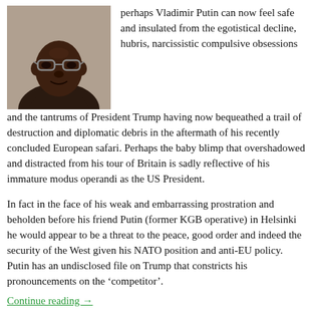[Figure (photo): Portrait photo of a Black man wearing glasses and a dark suit with a white shirt]
perhaps Vladimir Putin can now feel safe and insulated from the egotistical decline, hubris, narcissistic compulsive obsessions and the tantrums of President Trump having now bequeathed a trail of destruction and diplomatic debris in the aftermath of his recently concluded European safari. Perhaps the baby blimp that overshadowed and distracted from his tour of Britain is sadly reflective of his immature modus operandi as the US President.
In fact in the face of his weak and embarrassing prostration and beholden before his friend Putin (former KGB operative) in Helsinki he would appear to be a threat to the peace, good order and indeed the security of the West given his NATO position and anti-EU policy. Putin has an undisclosed file on Trump that constricts his pronouncements on the ‘competitor’.
Continue reading →